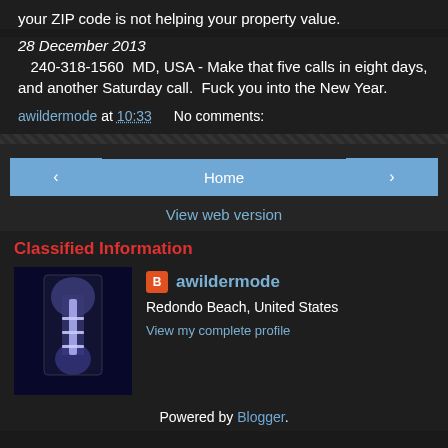your ZIP code is not helping your property value.
28 December 2013
240-318-1560  MD, USA - Make that five calls in eight days, and another Saturday call.  Fuck you into the New Year.
awildermode at 10:33    No comments:
Home
View web version
Classified Information
[Figure (photo): X-ray image of a leg/knee with surgical hardware]
awildermode
Redondo Beach, United States
View my complete profile
Powered by Blogger.